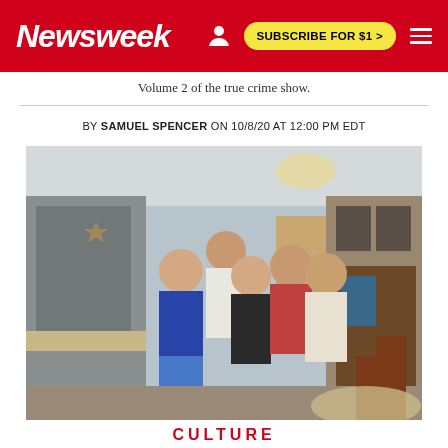Newsweek | SUBSCRIBE FOR $1 >
Volume 2 of the true crime show.
BY SAMUEL SPENCER ON 10/8/20 AT 12:00 PM EDT
[Figure (photo): A family group photo taken indoors. Five people are posing together smiling in what appears to be a home living/dining room setting. A woman in a blue shirt stands on the left with arms crossed, a man behind her in a white shirt, a woman in the center smiling, a younger man in a red and white shirt, and an older man with glasses and mustache on the right. Wooden furniture and framed pictures visible in the background.]
CULTURE